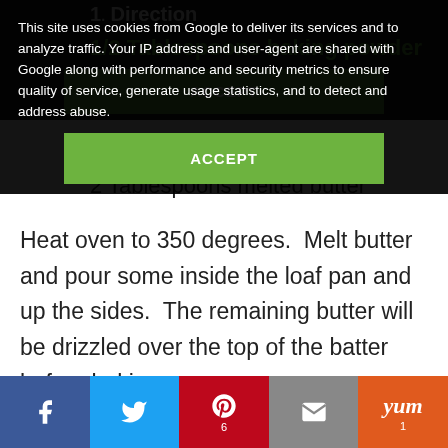This site uses cookies from Google to deliver its services and to analyze traffic. Your IP address and user-agent are shared with Google along with performance and security metrics to ensure quality of service, generate usage statistics, and to detect and address abuse.
ACCEPT
1/2 Tablespoons baking powder
6 ounces beer
2 Tablespoons melted butter
Heat oven to 350 degrees.  Melt butter and pour some inside the loaf pan and up the sides.  The remaining butter will be drizzled over the top of the batter before baking.
f  [Facebook]  Twitter  P 6  [Email]  yum 1